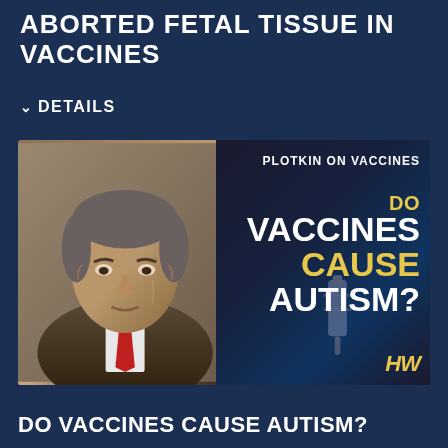ABORTED FETAL TISSUE IN VACCINES
DETAILS
[Figure (photo): Thumbnail image showing an elderly man in a suit and red tie on the left half, with text overlay on the right reading 'PLOTKIN ON VACCINES / DO VACCINES CAUSE AUTISM?' with HW logo. Dark blue/black background on right side with a syringe image.]
DO VACCINES CAUSE AUTISM?